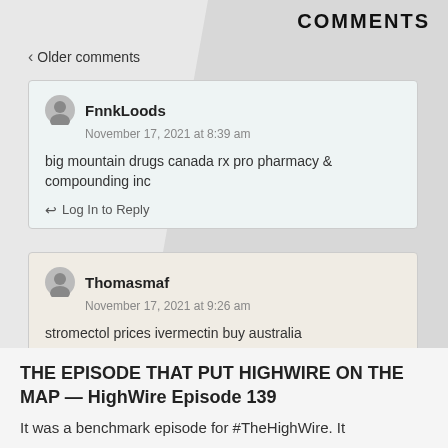COMMENTS
< Older comments
FnnkLoods
November 17, 2021 at 8:39 am

big mountain drugs canada rx pro pharmacy & compounding inc

Log In to Reply
Thomasmaf
November 17, 2021 at 9:26 am

stromectol prices ivermectin buy australia

Log In to Reply
THE EPISODE THAT PUT HIGHWIRE ON THE MAP — HighWire Episode 139
It was a benchmark episode for #TheHighWire. It